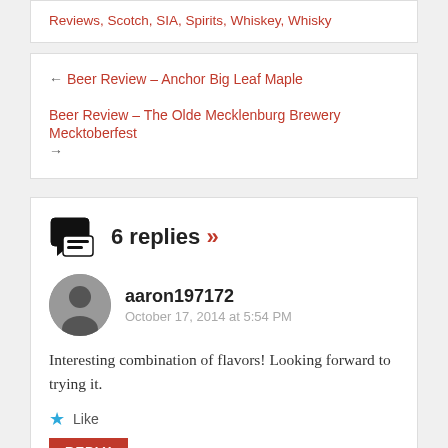Reviews, Scotch, SIA, Spirits, Whiskey, Whisky
← Beer Review – Anchor Big Leaf Maple
Beer Review – The Olde Mecklenburg Brewery Mecktoberfest →
6 replies »
aaron197172
October 17, 2014 at 5:54 PM
Interesting combination of flavors! Looking forward to trying it.
Like
REPLY